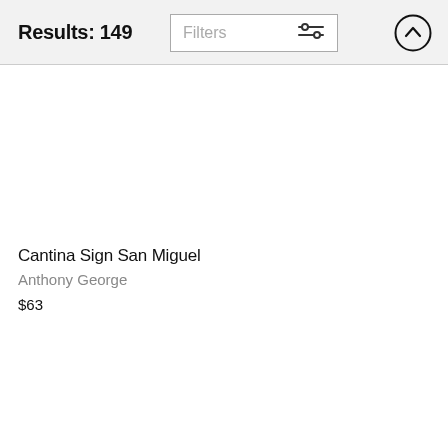Results: 149
[Figure (screenshot): Filters button with sliders icon]
[Figure (screenshot): Upload/scroll-to-top button (circle with upward arrow)]
Cantina Sign San Miguel
Anthony George
$63